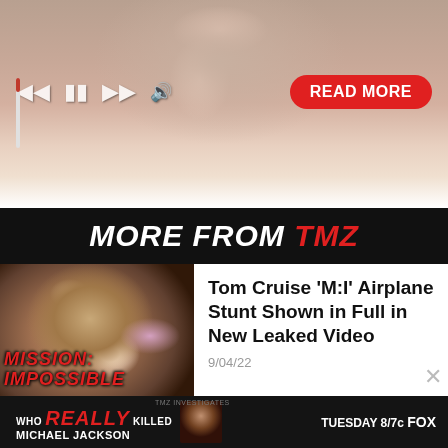[Figure (screenshot): Video player screenshot showing a woman (close-up face/shoulders) with jewelry, media playback controls (previous, pause, next, audio) on the left and a red 'READ MORE' button on the right. A red vertical progress indicator is visible on the left side.]
MORE FROM TMZ
[Figure (photo): Photo of Tom Cruise smiling at an event with crowd in background. Overlaid text at bottom reads 'MISSION: IMPOSSIBLE' in red italic font.]
Tom Cruise 'M:I' Airplane Stunt Shown in Full in New Leaked Video
9/04/22
[Figure (screenshot): Advertisement banner: 'WHO REALLY KILLED MICHAEL JACKSON' with a face silhouette image and text 'TUESDAY 8/7c FOX' on dark background.]